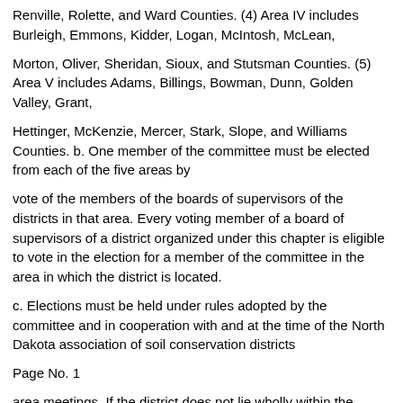Renville, Rolette, and Ward Counties. (4) Area IV includes Burleigh, Emmons, Kidder, Logan, McIntosh, McLean,
Morton, Oliver, Sheridan, Sioux, and Stutsman Counties. (5) Area V includes Adams, Billings, Bowman, Dunn, Golden Valley, Grant,
Hettinger, McKenzie, Mercer, Stark, Slope, and Williams Counties. b. One member of the committee must be elected from each of the five areas by
vote of the members of the boards of supervisors of the districts in that area. Every voting member of a board of supervisors of a district organized under this chapter is eligible to vote in the election for a member of the committee in the area in which the district is located.
c. Elections must be held under rules adopted by the committee and in cooperation with and at the time of the North Dakota association of soil conservation districts
Page No. 1
area meetings. If the district does not lie wholly within the boundaries of one of the five areas established under this section, the rules must provide for the assignment of the district to the area for purposes of the election.